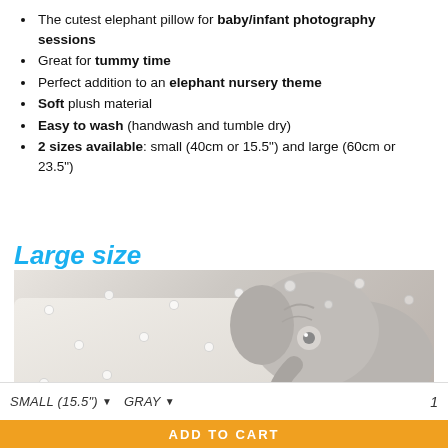The cutest elephant pillow for baby/infant photography sessions
Great for tummy time
Perfect addition to an elephant nursery theme
Soft plush material
Easy to wash (handwash and tumble dry)
2 sizes available: small (40cm or 15.5") and large (60cm or 23.5")
[Figure (photo): Large size label in blue italic text above a product photo of a gray elephant stuffed pillow on a white tufted sofa background]
SMALL (15.5") ▾   GRAY ▾   1
ADD TO CART